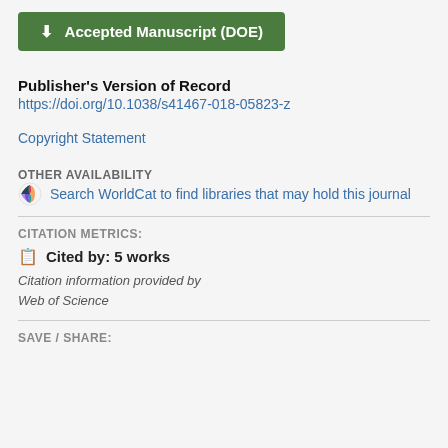Accepted Manuscript (DOE)
Publisher's Version of Record
https://doi.org/10.1038/s41467-018-05823-z
Copyright Statement
OTHER AVAILABILITY
Search WorldCat to find libraries that may hold this journal
CITATION METRICS:
Cited by: 5 works
Citation information provided by Web of Science
SAVE / SHARE: